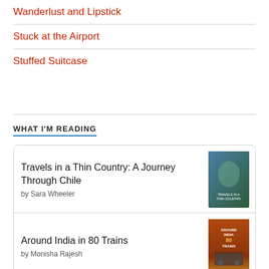Wanderlust and Lipstick
Stuck at the Airport
Stuffed Suitcase
WHAT I'M READING
Travels in a Thin Country: A Journey Through Chile by Sara Wheeler
Around India in 80 Trains by Monisha Rajesh